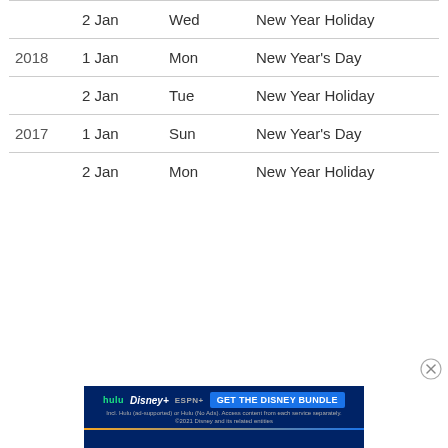| Year | Date | Day | Holiday |
| --- | --- | --- | --- |
|  | 2 Jan | Wed | New Year Holiday |
| 2018 | 1 Jan | Mon | New Year's Day |
|  | 2 Jan | Tue | New Year Holiday |
| 2017 | 1 Jan | Sun | New Year's Day |
|  | 2 Jan | Mon | New Year Holiday |
[Figure (other): Advertisement banner for Disney Bundle (Hulu, Disney+, ESPN+) with blue background and 'GET THE DISNEY BUNDLE' call-to-action button]